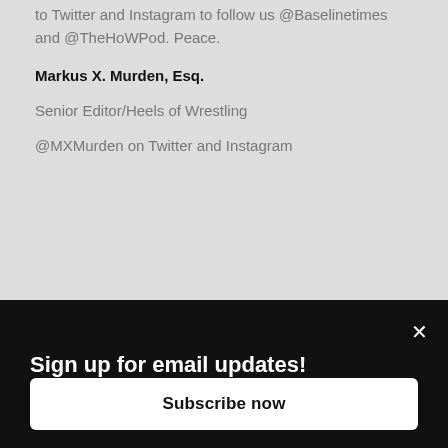to Twitter and Instagram to follow us @Baselinetimes and @TheHoWPod. Peace.
Markus X. Murden, Esq.
Senior Editor/Heels of Wrestling
@MXMurden on Twitter and Instagram
Sign up for email updates!
Subscribe now